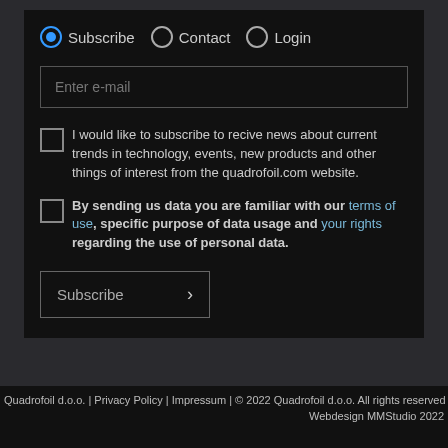Subscribe | Contact | Login
Enter e-mail
I would like to subscribe to recive news about current trends in technology, events, new products and other things of interest from the quadrofoil.com website.
By sending us data you are familiar with our terms of use, specific purpose of data usage and your rights regarding the use of personal data.
Subscribe
Quadrofoil d.o.o. | Privacy Policy | Impressum | © 2022 Quadrofoil d.o.o. All rights reserved
Webdesign MMStudio 2022